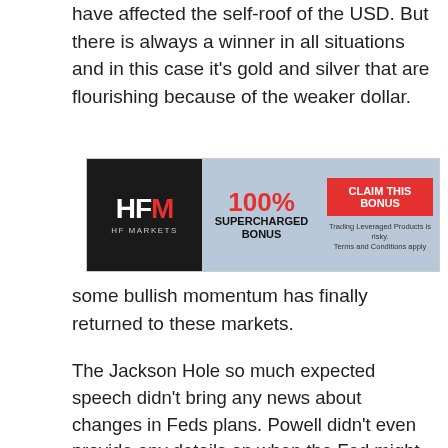have affected the self-roof of the USD. But there is always a winner in all situations and in this case it's gold and silver that are flourishing because of the weaker dollar.
[Figure (other): HFM HF Markets advertisement banner: 100% Supercharged Bonus, Claim This Bonus button, Trading Leveraged Products is risky, Terms and Conditions apply]
some bullish momentum has finally returned to these markets.
The Jackson Hole so much expected speech didn't bring any news about changes in Feds plans. Powell didn't even provide any details on when the Fed might taper its 120 billion USD Quantitative Easing (QA) program; he simply stated that the Fed plans to do it if the economy continues to strengthen – which, again, is
[Figure (other): FP Markets advertisement banner: Ultra-tight spreads from 0.0 pips on MT4, No commissions - No requotes, Trade Now button, CFD trading involves high risk, Standard account.]
It looks like after the weakened NFP numbers for last